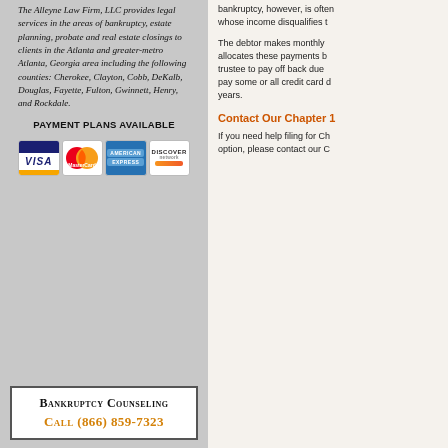The Alleyne Law Firm, LLC provides legal services in the areas of bankruptcy, estate planning, probate and real estate closings to clients in the Atlanta and greater-metro Atlanta, Georgia area including the following counties: Cherokee, Clayton, Cobb, DeKalb, Douglas, Fayette, Fulton, Gwinnett, Henry, and Rockdale.
PAYMENT PLANS AVAILABLE
[Figure (logo): Credit card logos: Visa, MasterCard, American Express, Discover]
BANKRUPTCY COUNSELING
CALL (866) 859-7323
bankruptcy, however, is often whose income disqualifies t
The debtor makes monthly allocates these payments b trustee to pay off back due pay some or all credit card d years.
Contact Our Chapter 1
If you need help filing for Ch option, please contact our C